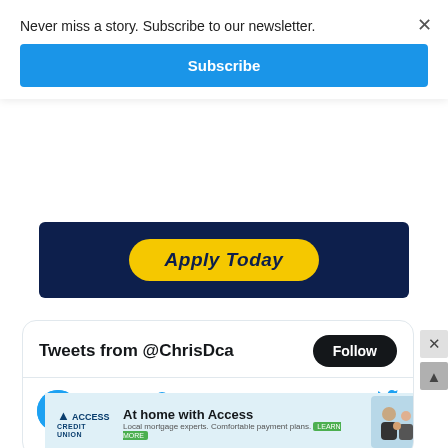Never miss a story. Subscribe to our newsletter.
Subscribe
[Figure (screenshot): Advertisement banner with dark navy blue background showing a yellow 'Apply Today' button in italic bold text]
[Figure (screenshot): Twitter/X widget showing tweets from @ChrisDca with a Follow button. Contains tweet: 'ChrisD.ca @ChrisDca · 2h Goldeyes Acquire All-Star Pitcher Paul Schwendel chrisd.ca/2022/08/20/pau...']
[Figure (screenshot): Access Credit Union advertisement: 'At home with Access - Local mortgage experts. Comfortable payment plans. LEARN MORE' with family photo]